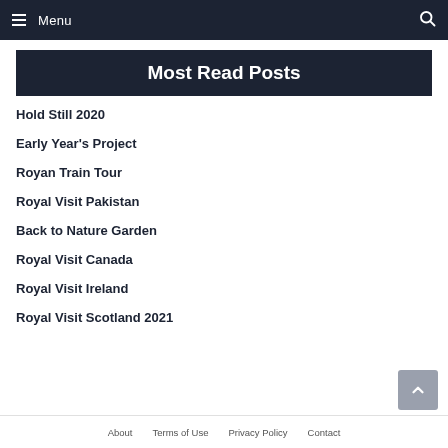Menu
Most Read Posts
Hold Still 2020
Early Year's Project
Royan Train Tour
Royal Visit Pakistan
Back to Nature Garden
Royal Visit Canada
Royal Visit Ireland
Royal Visit Scotland 2021
About   Terms of Use   Privacy Policy   Contact